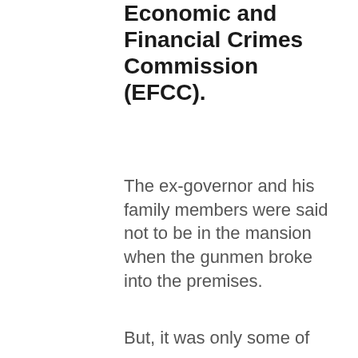Economic and Financial Crimes Commission (EFCC).
The ex-governor and his family members were said not to be in the mansion when the gunmen broke into the premises.
But, it was only some of